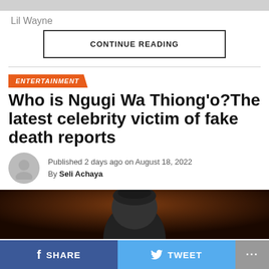Lil Wayne
CONTINUE READING
ENTERTAINMENT
Who is Ngugi Wa Thiong'o?The latest celebrity victim of fake death reports
Published 2 days ago on August 18, 2022
By Seli Achaya
[Figure (photo): Close-up photo of a man's head against a dark brown background]
SHARE   TWEET   ...